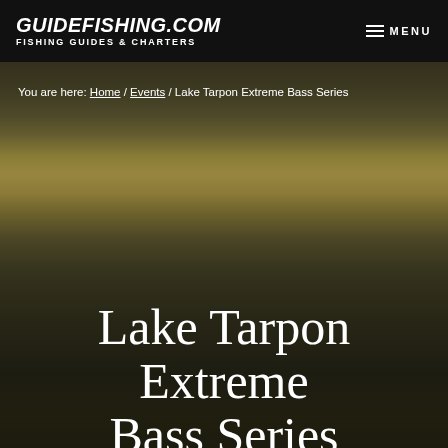GUIDEFISHING.COM FISHING GUIDES & CHARTERS
You are here: Home / Events / Lake Tarpon Extreme Bass Series
[Figure (photo): Outdoor lake/marina scene at dusk with wooden docks and boats reflected in calm water, trees silhouetted in background, dark moody atmosphere]
Lake Tarpon Extreme Bass Series
« All Events
Click To Book A Charter/Guide Trip